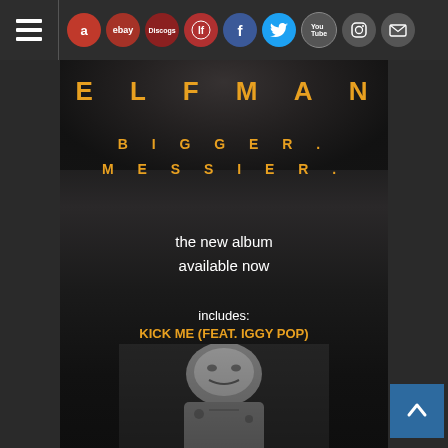[Figure (screenshot): Website navigation bar with hamburger menu icon on the left, followed by circular social media and shop icons: Amazon (red), eBay (dark red), Discogs (dark red), Last.fm (red), Facebook (blue), Twitter (blue), YouTube (dark), Instagram (dark), Mail (dark)]
[Figure (photo): Album promotional image for Elf Man featuring dark background with close-up of lips/lower face at top, text overlay showing ELFMAN in orange spaced letters, BIGGER. MESSIER. in orange below, white text 'the new album available now', 'includes:', orange text 'KICK ME (FEAT. IGGY POP)', white text 'click to preview & watch the video', and a black-and-white photo of Iggy Pop at bottom]
ELFMAN
BIGGER. MESSIER.
the new album available now
includes:
KICK ME (FEAT. IGGY POP)
click to preview & watch the video